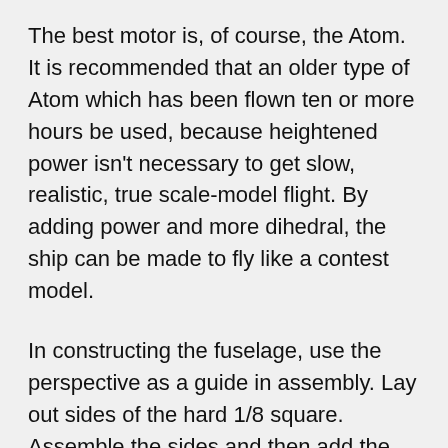The best motor is, of course, the Atom. It is recommended that an older type of Atom which has been flown ten or more hours be used, because heightened power isn't necessary to get slow, realistic, true scale-model flight. By adding power and more dihedral, the ship can be made to fly like a contest model.
In constructing the fuselage, use the perspective as a guide in assembly. Lay out sides of the hard 1/8 square. Assemble the sides and then add the nose and side bulkheads. Install 1/16 music-wire landing gears. Bend to fit the fuselage, using the plan for correct strut lengths. Lash and cement firmly into place. Plank the nose sides and the top with soft balsa.
Cut out the 1/16 plywood firewall, slotting it to take the pine motor mounts. Cement it to the nose of the fuselage. Carve the nose block to rough shape and cement it to the nose. Sand to a smooth finish; cut it off and hollow it to fit